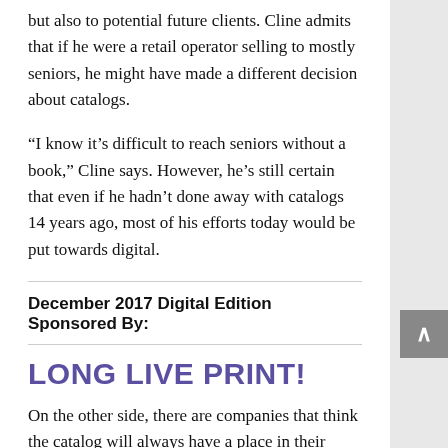but also to potential future clients. Cline admits that if he were a retail operator selling to mostly seniors, he might have made a different decision about catalogs.
“I know it’s difficult to reach seniors without a book,” Cline says. However, he’s still certain that even if he hadn’t done away with catalogs 14 years ago, most of his efforts today would be put towards digital.
December 2017 Digital Edition Sponsored By:
LONG LIVE PRINT!
On the other side, there are companies that think the catalog will always have a place in their marketing strategies. This is due in large part to the audience they target. The fact is that many guided tour operators cater to an older generation that still appreciates having a physical book they can flip through.